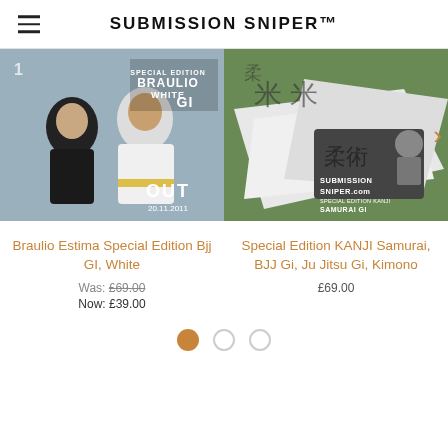SUBMISSION SNIPER™
[Figure (photo): Product image: Braulio Estima Special Edition BJJ GI White - two martial artists in gi uniforms, text overlay 'SPECIAL EDITION BRAULIO WHITE GI OUT 20.11.2011']
[Figure (photo): Product image: Special Edition KANJI Samurai BJJ Gi - folded white gi with Japanese kanji and samurai graphic, Submission Sniper branding]
Braulio Estima Special Edition Bjj GI, White
Was: £69.00 Now: £39.00
Special Edition KANJI Samurai, BJJ Gi, Ju Jitsu Gi, Kimono
£69.00